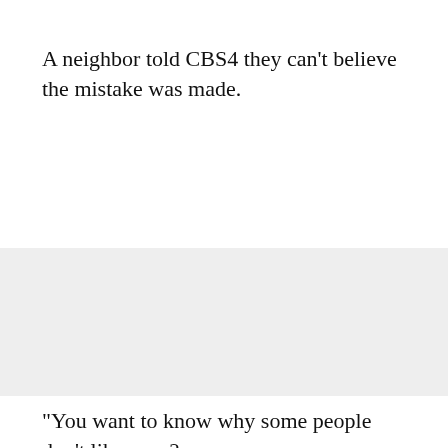A neighbor told CBS4 they can't believe the mistake was made.
[Figure (photo): A large light gray rectangular image placeholder area occupying the middle portion of the page.]
"You want to know why some people don't like cops?